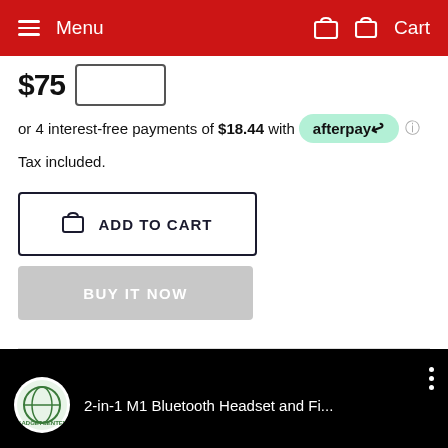Menu  Cart
$75
or 4 interest-free payments of $18.44 with afterpay
Tax included.
ADD TO CART
BUY IT NOW
[Figure (screenshot): YouTube video thumbnail showing '2-in-1 M1 Bluetooth Headset and Fi...' with GadgetCenter logo and hand holding device]